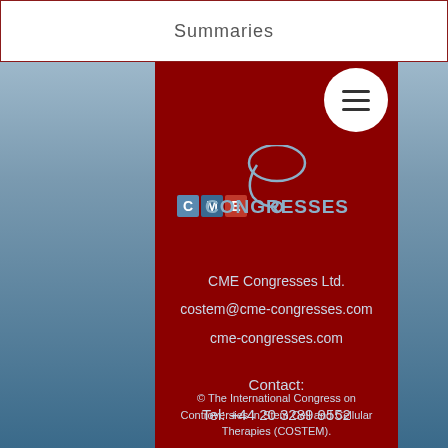Summaries
[Figure (logo): CME Congresses logo with stethoscope icon and stylized CME text in blue/gray with CONGRESSES in large letters]
CME Congresses Ltd.
costem@cme-congresses.com
cme-congresses.com
Contact:
Tel: +44 20 3289 9552
© The International Congress on Controversies in Stem Cell and Cellular Therapies (COSTEM).